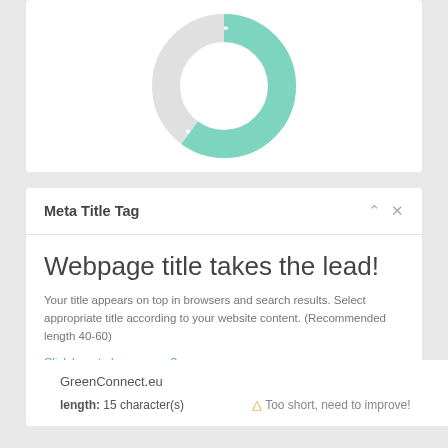[Figure (donut-chart): Donut chart showing approximately 60% teal/green segment and 40% light gray segment]
Meta Title Tag
Webpage title takes the lead!
Your title appears on top in browsers and search results. Select appropriate title according to your website content. (Recommended length 40-60)
Click here to know more ?
GreenConnect.eu
length: 15 character(s)    ⚠ Too short, need to improve!